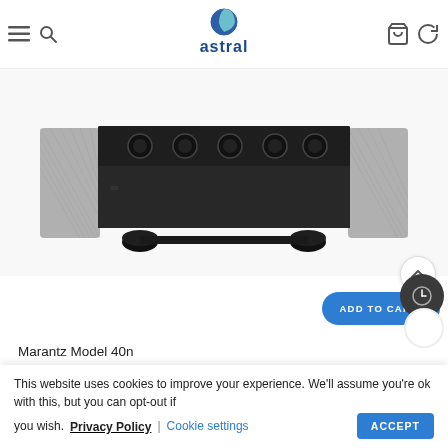[Figure (logo): Astral logo with blue globe icon and blue 'astral' wordmark]
[Figure (photo): Photo of Marantz Model 40n amplifier top view showing knobs and controls on a dark chassis with textured sides]
Marantz Model 40n
This website uses cookies to improve your experience. We'll assume you're ok with this, but you can opt-out if you wish.  Privacy Policy  |  Cookie settings  ACCEPT